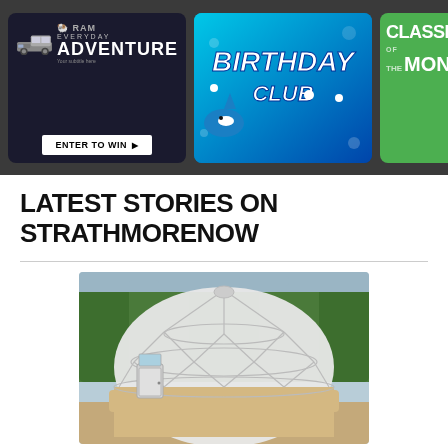[Figure (other): Dark grey banner bar containing three advertisement banners: (1) RAM Everyday Adventure truck contest 'ENTER TO WIN' banner on dark background, (2) Birthday Club banner on blue ocean-themed background with cartoon shark, (3) Partially visible 'Classroom of the Month' banner on green background]
LATEST STORIES ON STRATHMORENOW
[Figure (photo): A large white geodesic dome greenhouse/growing structure with a small door on the left side, set against a backdrop of green trees and overcast sky, on a dirt/sandy ground]
Strathmore High School